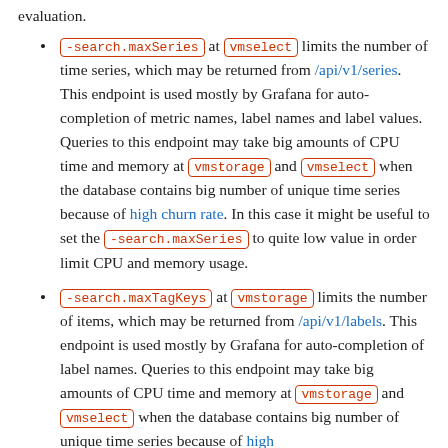evaluation.
-search.maxSeries at vmselect limits the number of time series, which may be returned from /api/v1/series. This endpoint is used mostly by Grafana for auto-completion of metric names, label names and label values. Queries to this endpoint may take big amounts of CPU time and memory at vmstorage and vmselect when the database contains big number of unique time series because of high churn rate. In this case it might be useful to set the -search.maxSeries to quite low value in order limit CPU and memory usage.
-search.maxTagKeys at vmstorage limits the number of items, which may be returned from /api/v1/labels. This endpoint is used mostly by Grafana for auto-completion of label names. Queries to this endpoint may take big amounts of CPU time and memory at vmstorage and vmselect when the database contains big number of unique time series because of high